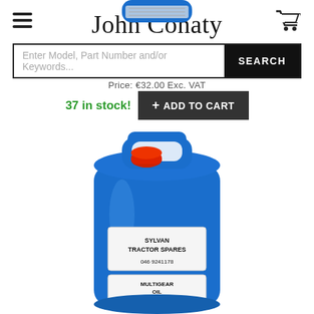John Conaty
Enter Model, Part Number and/or Keywords... SEARCH
Price: €32.00 Exc. VAT
37 in stock! + ADD TO CART
[Figure (photo): Blue 20L plastic jerry can with red cap and white label reading SYLVAN TRACTOR SPARES 046 9241178 and MULTIGEAR OIL XEP 80W/90]